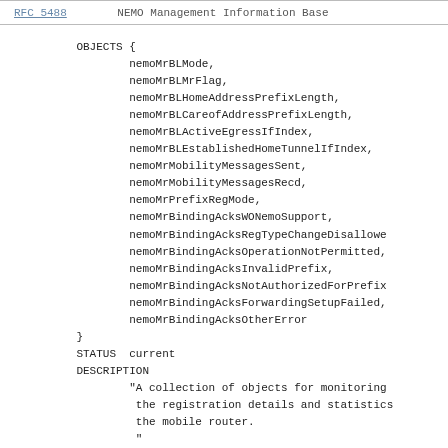RFC 5488     NEMO Management Information Base
OBJECTS {
        nemoMrBLMode,
        nemoMrBLMrFlag,
        nemoMrBLHomeAddressPrefixLength,
        nemoMrBLCareofAddressPrefixLength,
        nemoMrBLActiveEgressIfIndex,
        nemoMrBLEstablishedHomeTunnelIfIndex,
        nemoMrMobilityMessagesSent,
        nemoMrMobilityMessagesRecd,
        nemoMrPrefixRegMode,
        nemoMrBindingAcksWONemoSupport,
        nemoMrBindingAcksRegTypeChangeDisallowe
        nemoMrBindingAcksOperationNotPermitted,
        nemoMrBindingAcksInvalidPrefix,
        nemoMrBindingAcksNotAuthorizedForPrefix
        nemoMrBindingAcksForwardingSetupFailed,
        nemoMrBindingAcksOtherError
    }
    STATUS  current
    DESCRIPTION
            "A collection of objects for monitoring
             the registration details and statistics
             the mobile router.
             "

    ::= { nemoGroups 5 }